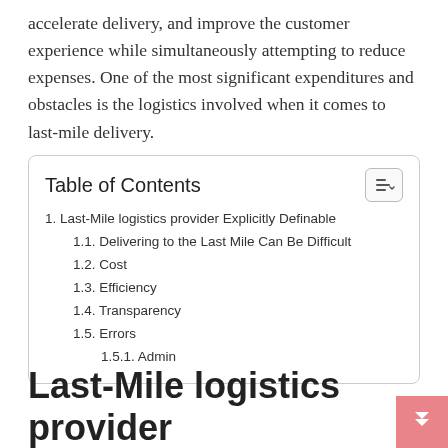accelerate delivery, and improve the customer experience while simultaneously attempting to reduce expenses. One of the most significant expenditures and obstacles is the logistics involved when it comes to last-mile delivery.
| Table of Contents |
| --- |
| 1. Last-Mile logistics provider Explicitly Definable |
| 1.1. Delivering to the Last Mile Can Be Difficult |
| 1.2. Cost |
| 1.3. Efficiency |
| 1.4. Transparency |
| 1.5. Errors |
| 1.5.1. Admin |
Last-Mile logistics provider